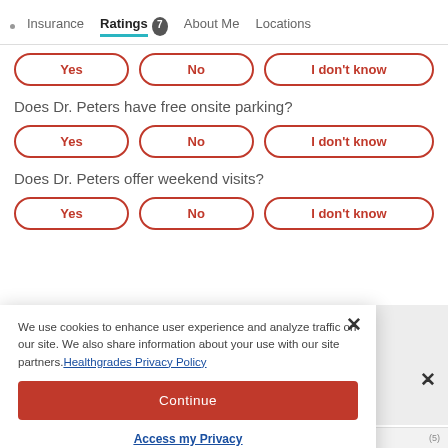Insurance | Ratings 7 | About Me | Locations
Does Dr. Peters have free onsite parking?
Yes | No | I don't know
Does Dr. Peters offer weekend visits?
Yes | No | I don't know
We use cookies to enhance user experience and analyze traffic on our site. We also share information about your use with our site partners. Healthgrades Privacy Policy
Continue
Access my Privacy Preferences